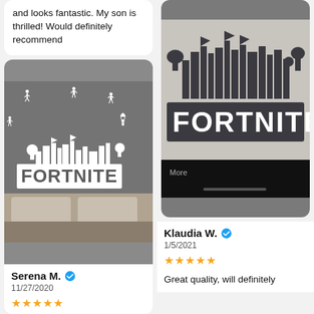and looks fantastic. My son is thrilled! Would definitely recommend
[Figure (photo): Photo of a bedroom wall with white Fortnite logo and character decals on a grey wall above a bed with grey bedding]
Serena M. ✓
11/27/2020
★★★★★
[Figure (photo): Photo of Fortnite logo decal on a light wall, showing the city skyline and FORTNITE text in dark color]
Klaudia W. ✓
1/5/2021
★★★★★
Great quality, will definitely